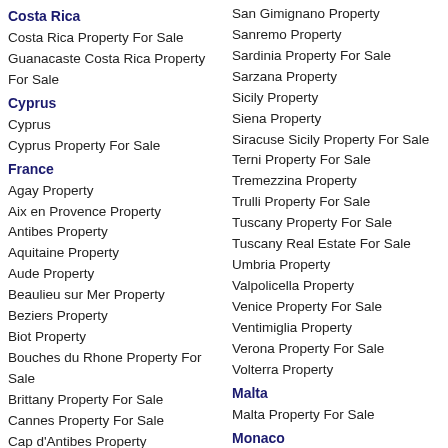Costa Rica
Costa Rica Property For Sale
Guanacaste Costa Rica Property For Sale
Cyprus
Cyprus
Cyprus Property For Sale
France
Agay Property
Aix en Provence Property
Antibes Property
Aquitaine Property
Aude Property
Beaulieu sur Mer Property
Beziers Property
Biot Property
Bouches du Rhone Property For Sale
Brittany Property For Sale
Cannes Property For Sale
Cap d'Antibes Property
Cap Ferrat Villa For Sale
Carcassonne Property
Ceret Property
San Gimignano Property
Sanremo Property
Sardinia Property For Sale
Sarzana Property
Sicily Property
Siena Property
Siracuse Sicily Property For Sale
Terni Property For Sale
Tremezzina Property
Trulli Property For Sale
Tuscany Property For Sale
Tuscany Real Estate For Sale
Umbria Property
Valpolicella Property
Venice Property For Sale
Ventimiglia Property
Verona Property For Sale
Volterra Property
Malta
Malta Property For Sale
Monaco
Monaco Property
Monaco Real Estate